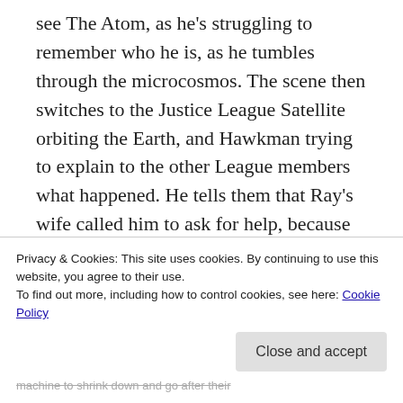see The Atom, as he's struggling to remember who he is, as he tumbles through the microcosmos. The scene then switches to the Justice League Satellite orbiting the Earth, and Hawkman trying to explain to the other League members what happened. He tells them that Ray's wife called him to ask for help, because Ray went off the deep end and had a nervous breakdown. Hawkman shows up at his lab to help, but he's too far gone, and attacks Hawkman. He turns into the Atom, and
Privacy & Cookies: This site uses cookies. By continuing to use this website, you agree to their use.
To find out more, including how to control cookies, see here: Cookie Policy
Close and accept
machine to shrink down and go after their